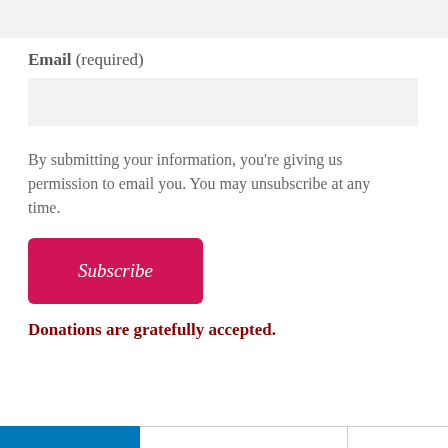Email (required)
By submitting your information, you're giving us permission to email you. You may unsubscribe at any time.
Subscribe
Donations are gratefully accepted.